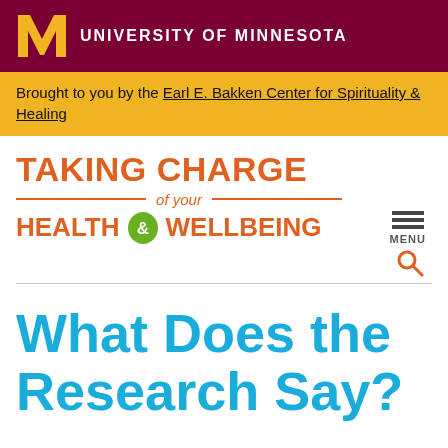[Figure (logo): University of Minnesota logo with gold M and white text 'UNIVERSITY OF MINNESOTA' on maroon background]
Brought to you by the Earl E. Bakken Center for Spirituality & Healing
[Figure (logo): Taking Charge of your Health & Wellbeing site logo with orange text and green leaf ampersand]
What Does the Research Say?